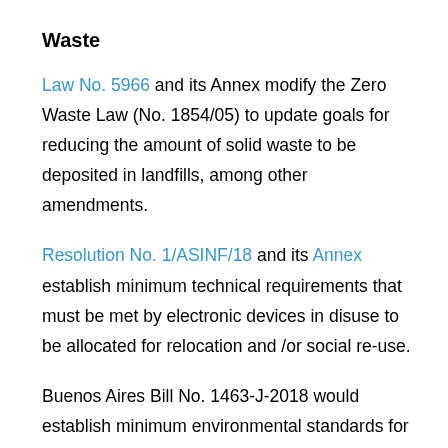Waste
Law No. 5966 and its Annex modify the Zero Waste Law (No. 1854/05) to update goals for reducing the amount of solid waste to be deposited in landfills, among other amendments.
Resolution No. 1/ASINF/18 and its Annex establish minimum technical requirements that must be met by electronic devices in disuse to be allocated for relocation and /or social re-use.
Buenos Aires Bill No. 1463-J-2018 would establish minimum environmental standards for the management of used batteries.